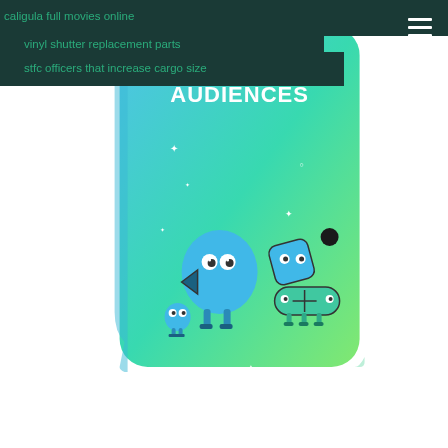caligula full movies online
vinyl shutter replacement parts
stfc officers that increase cargo size
[Figure (illustration): A phone case or box with a teal-to-green gradient background. The word AUDIENCES appears at the top in white block letters. Three cartoon characters with big eyes are illustrated on it: a round blue blob character with a play-back arrow, a diamond/rhombus shaped character, and a bandage/plaster shaped character. Decorative sparkle/star elements scattered around.]